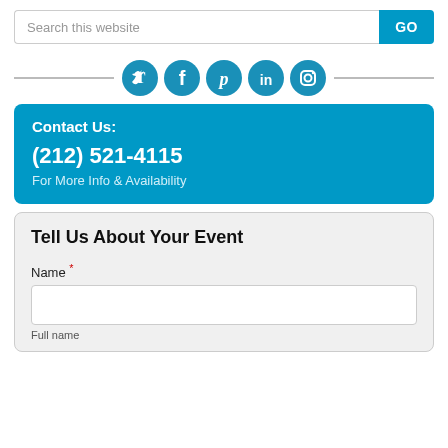[Figure (screenshot): Search bar with text 'Search this website' and a blue GO button]
[Figure (infographic): Social media icons row: Twitter, Facebook, Pinterest, LinkedIn, Instagram — circular blue icons separated by horizontal lines]
Contact Us:
(212) 521-4115
For More Info & Availability
Tell Us About Your Event
Name *
Full name